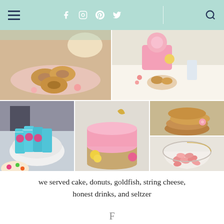Navigation header with hamburger menu, social icons (facebook, instagram, pinterest, twitter), and search
[Figure (photo): Collage of party food photos: donuts on a pink plate, table with pink flowers and donuts, canned drinks in a bowl, pink frosted cake with peony, cookies stacked, pink candies in a glass bowl]
we served cake, donuts, goldfish, string cheese, honest drinks, and seltzer
F